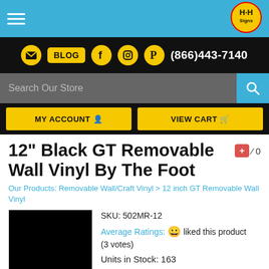[Figure (logo): H&H Signs logo circle in top right of blue header bar]
BLOG (866)443-7140 | Social icons row with search bar and MY ACCOUNT / VIEW CART buttons
12" Black GT Removable Wall Vinyl By The Foot
Our Products: Removable Wall/Craft Vinyl > 12 inch GT Removable Wall Vinyl
SKU: 502MR-12
Average Ratings: liked this product (3 votes)
Units in Stock: 163